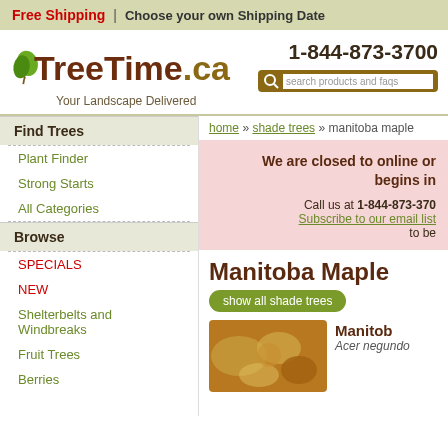Free Shipping | Choose your own Shipping Date
[Figure (logo): TreeTime.ca logo with green leaf and tagline 'Your Landscape Delivered']
1-844-873-3700
search products and faqs
home » shade trees » manitoba maple
Find Trees
Plant Finder
Strong Starts
All Categories
Browse
SPECIALS
NEW
Shelterbelts and Windbreaks
Fruit Trees
Berries
We are closed to online orders. Our next season begins in...
Call us at 1-844-873-3700 Subscribe to our email list to be...
Manitoba Maple
show all shade trees
Manitoba
Acer negundo